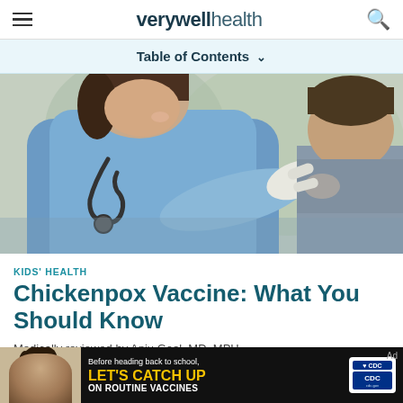verywell health
Table of Contents
[Figure (photo): A nurse in blue scrubs with a stethoscope administering a vaccine injection to a young boy's shoulder arm]
KIDS' HEALTH
Chickenpox Vaccine: What You Should Know
Medically reviewed by Anju Goel, MD, MPH
[Figure (photo): CDC advertisement: Before heading back to school, LET'S CATCH UP ON ROUTINE VACCINES, showing a young girl and CDC logo]